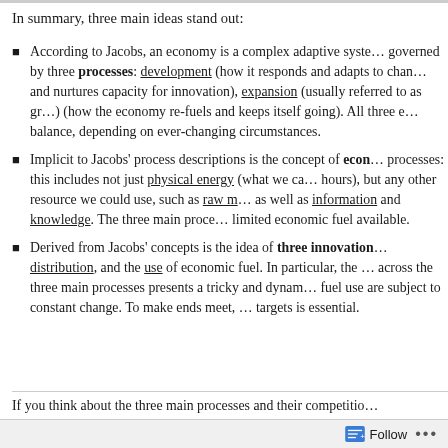In summary, three main ideas stand out:
According to Jacobs, an economy is a complex adaptive system governed by three processes: development (how it responds and adapts to change and nurtures capacity for innovation), expansion (usually referred to as growth), and transplant (how the economy re-fuels and keeps itself going). All three exist in a delicate balance, depending on ever-changing circumstances.
Implicit to Jacobs' process descriptions is the concept of economic fuel for these processes: this includes not just physical energy (what we call energy in man-hours), but any other resource we could use, such as raw materials and capital, as well as information and knowledge. The three main processes compete for the limited economic fuel available.
Derived from Jacobs' concepts is the idea of three innovation targets: the production, distribution, and the use of economic fuel. In particular, the allocation of fuel across the three main processes presents a tricky and dynamic challenge, as both fuel use are subject to constant change. To make ends meet, balancing innovation targets is essential.
If you think about the three main processes and their competitio
Follow ...